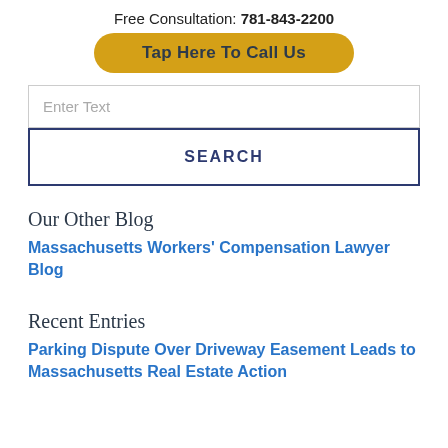Free Consultation: 781-843-2200
Tap Here To Call Us
Enter Text
SEARCH
Our Other Blog
Massachusetts Workers' Compensation Lawyer Blog
Recent Entries
Parking Dispute Over Driveway Easement Leads to Massachusetts Real Estate Action